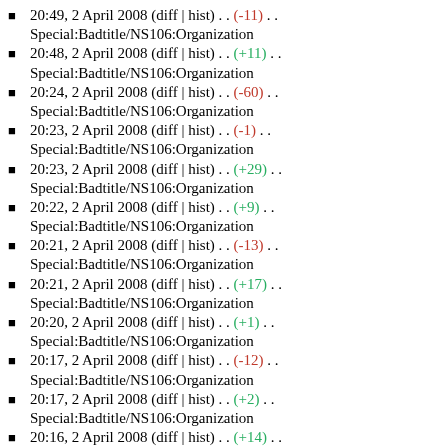20:49, 2 April 2008 (diff | hist) . . (-11) . . Special:Badtitle/NS106:Organization
20:48, 2 April 2008 (diff | hist) . . (+11) . . Special:Badtitle/NS106:Organization
20:24, 2 April 2008 (diff | hist) . . (-60) . . Special:Badtitle/NS106:Organization
20:23, 2 April 2008 (diff | hist) . . (-1) . . Special:Badtitle/NS106:Organization
20:23, 2 April 2008 (diff | hist) . . (+29) . . Special:Badtitle/NS106:Organization
20:22, 2 April 2008 (diff | hist) . . (+9) . . Special:Badtitle/NS106:Organization
20:21, 2 April 2008 (diff | hist) . . (-13) . . Special:Badtitle/NS106:Organization
20:21, 2 April 2008 (diff | hist) . . (+17) . . Special:Badtitle/NS106:Organization
20:20, 2 April 2008 (diff | hist) . . (+1) . . Special:Badtitle/NS106:Organization
20:17, 2 April 2008 (diff | hist) . . (-12) . . Special:Badtitle/NS106:Organization
20:17, 2 April 2008 (diff | hist) . . (+2) . . Special:Badtitle/NS106:Organization
20:16, 2 April 2008 (diff | hist) . . (+14) . . Special:Badtitle/NS106:Organization
20:16, 2 April 2008 (diff | hist) . . (+14) . .